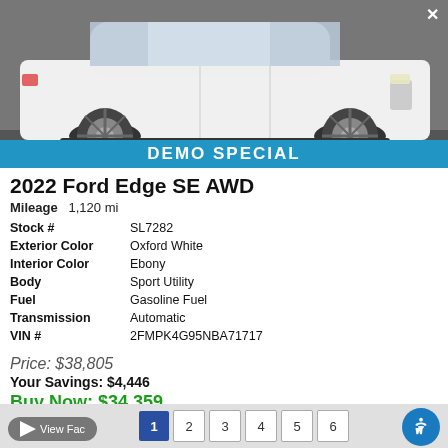[Figure (photo): White Ford Edge SUV photographed from the side, showing the full vehicle profile with both wheels visible, on a gray asphalt surface. A blue 'DEMO SPECIAL' banner overlays the bottom of the image.]
2022 Ford Edge SE AWD
Mileage  1,120 mi
| Stock # | SL7282 |
| Exterior Color | Oxford White |
| Interior Color | Ebony |
| Body | Sport Utility |
| Fuel | Gasoline Fuel |
| Transmission | Automatic |
| VIN # | 2FMPK4G95NBA71717 |
Price: $38,805
Your Savings: $4,446
Buy Now: $34,359
View Fact  1 2 3 4 5 6